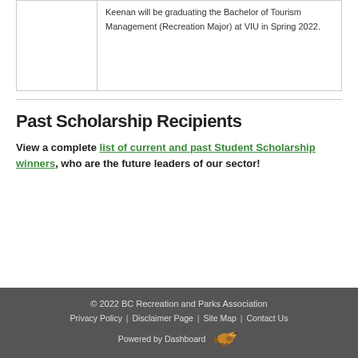|  | Keenan will be graduating the Bachelor of Tourism Management (Recreation Major) at VIU in Spring 2022. |
Past Scholarship Recipients
View a complete list of current and past Student Scholarship winners, who are the future leaders of our sector!
© 2022 BC Recreation and Parks Association  Privacy Policy | Disclaimer Page | Site Map | Contact Us  Powered by Dashboard